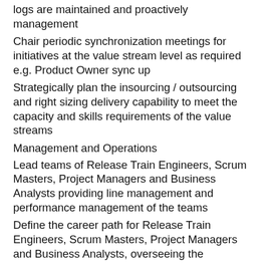logs are maintained and proactively management
Chair periodic synchronization meetings for initiatives at the value stream level as required e.g. Product Owner sync up
Strategically plan the insourcing / outsourcing and right sizing delivery capability to meet the capacity and skills requirements of the value streams
Management and Operations
Lead teams of Release Train Engineers, Scrum Masters, Project Managers and Business Analysts providing line management and performance management of the teams
Define the career path for Release Train Engineers, Scrum Masters, Project Managers and Business Analysts, overseeing the